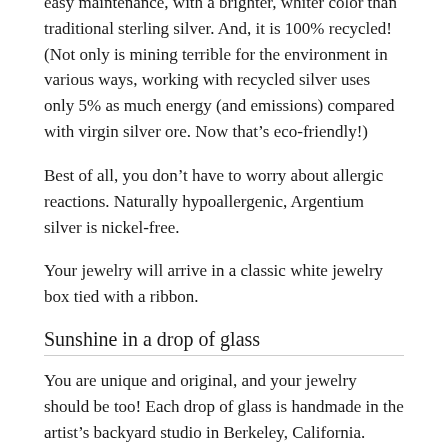easy maintenance, with a brighter, whiter color than traditional sterling silver. And, it is 100% recycled! (Not only is mining terrible for the environment in various ways, working with recycled silver uses only 5% as much energy (and emissions) compared with virgin silver ore. Now that's eco-friendly!)
Best of all, you don't have to worry about allergic reactions. Naturally hypoallergenic, Argentium silver is nickel-free.
Your jewelry will arrive in a classic white jewelry box tied with a ribbon.
Sunshine in a drop of glass
You are unique and original, and your jewelry should be too! Each drop of glass is handmade in the artist's backyard studio in Berkeley, California. Using a giant magnifying glass to focus sunshine, sand blasted glass is sintered...